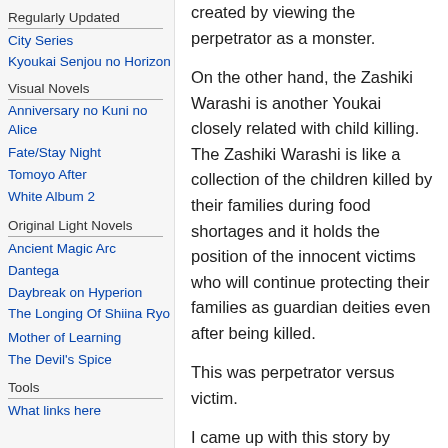Regularly Updated
City Series
Kyoukai Senjou no Horizon
Visual Novels
Anniversary no Kuni no Alice
Fate/Stay Night
Tomoyo After
White Album 2
Original Light Novels
Ancient Magic Arc
Dantega
Daybreak on Hyperion
The Longing Of Shiina Ryo
Mother of Learning
The Devil's Spice
Tools
What links here
created by viewing the perpetrator as a monster.
On the other hand, the Zashiki Warashi is another Youkai closely related with child killing. The Zashiki Warashi is like a collection of the children killed by their families during food shortages and it holds the position of the innocent victims who will continue protecting their families as guardian deities even after being killed.
This was perpetrator versus victim.
I came up with this story by thinking I could bring more focus on the titular Youkai by pitting her against another Youkai from Tohoku.
I give my thanks to my illustrator Mahaya-san and my editors Miki-san, Onodera-san, and Anon-san. I am very